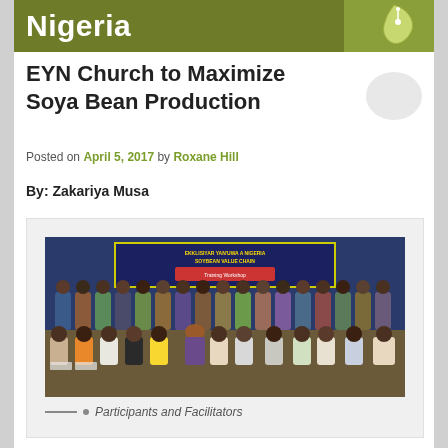Nigeria
EYN Church to Maximize Soya Bean Production
Posted on April 5, 2017 by Roxane Hill
By:  Zakariya Musa
[Figure (photo): Group photo of participants and facilitators at an EYN Church Soybean Value Chain Workshop. A banner with the workshop title is visible in the background. Participants are seated and standing in rows.]
Participants and Facilitators